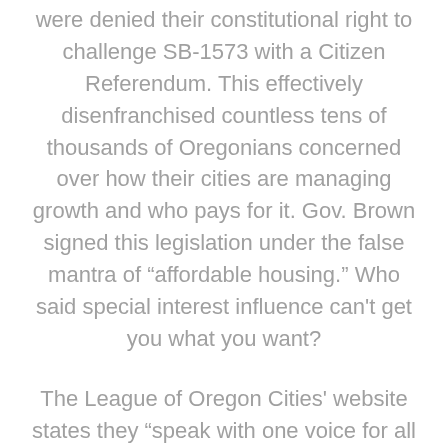were denied their constitutional right to challenge SB-1573 with a Citizen Referendum. This effectively disenfranchised countless tens of thousands of Oregonians concerned over how their cities are managing growth and who pays for it. Gov. Brown signed this legislation under the false mantra of “affordable housing.” Who said special interest influence can't get you what you want?
The League of Oregon Cities' website states they “speak with one voice for all